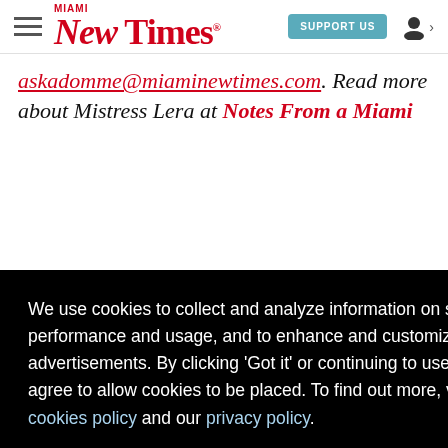Miami New Times | SUPPORT US
askadomme@miaminewtimes.com. Read more about Mistress Lera at Notes From a Miami
We use cookies to collect and analyze information on site performance and usage, and to enhance and customize content and advertisements. By clicking 'Got it' or continuing to use the site, you agree to allow cookies to be placed. To find out more, visit our cookies policy and our privacy policy.
Got it!